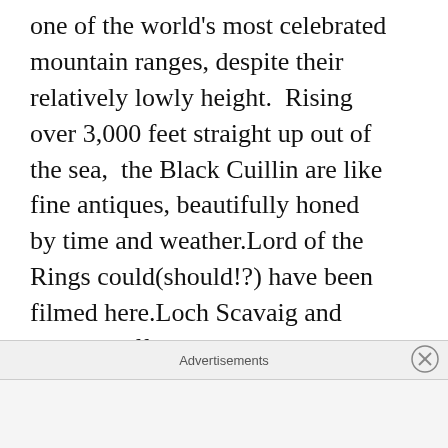one of the world's most celebrated mountain ranges, despite their relatively lowly height. Rising over 3,000 feet straight up out of the sea,  the Black Cuillin are like fine antiques, beautifully honed by time and weather.Lord of the Rings could(should!?) have been filmed here.Loch Scavaig and Coruisk offer an almost savage,  Gothic landscape, ancient and brooding with ever changing light and shade. At times it can look fearful, intimidating and unforgiving. In sunlight, it just looks magical, a place you never want to
Advertisements